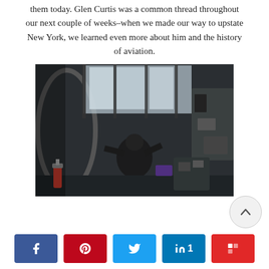them today. Glen Curtis was a common thread throughout our next couple of weeks–when we made our way to upstate New York, we learned even more about him and the history of aviation.
[Figure (photo): Interior view of an aircraft fuselage or compartment, dark environment with machinery, a person visible inside, fire extinguisher visible at bottom left, industrial/mechanical components throughout.]